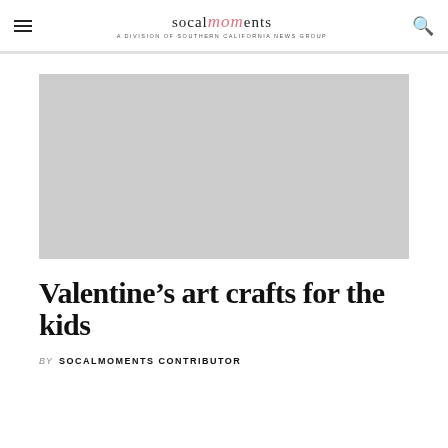socalmomᵗˢ A DIVISION OF SOUTHERN CALIFORNIA NEWS GROUP
[Figure (photo): Gray placeholder image for article about Valentine's art crafts for the kids]
Valentine’s art crafts for the kids
BY SOCALMOMENTS CONTRIBUTOR